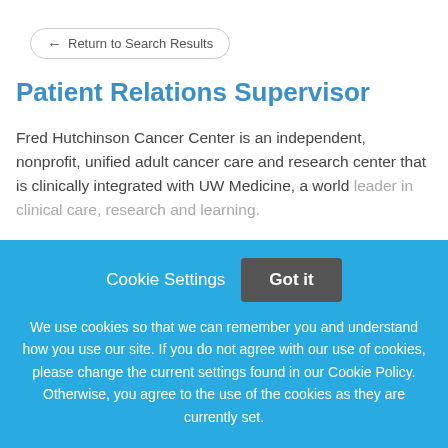Return to Search Results
Patient Relations Supervisor
Fred Hutchinson Cancer Center is an independent, nonprofit, unified adult cancer care and research center that is clinically integrated with UW Medicine, a world leader in clinical care, research and learning.
This job listing is no longer active.
Cookie Settings  Got it
We use cookies so that we can remember you and understand how you use our site. If you do not agree with our use of cookies, please change the current settings found in our Cookie Policy. Otherwise, you agree to the use of the cookies as they are currently set.